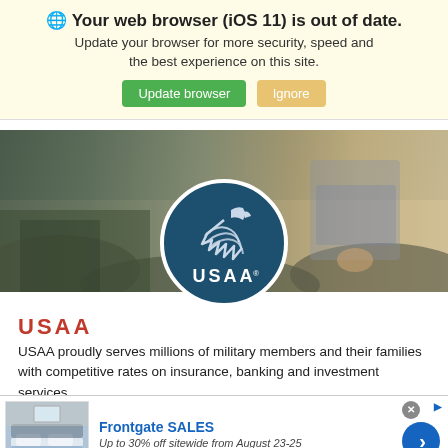🌐 Your web browser (iOS 11) is out of date. Update your browser for more security, speed and the best experience on this site. [Update browser] [Ignore]
[Figure (photo): Hero banner background showing a person in outdoor/nature setting, muted earthy tones]
[Figure (logo): USAA circular logo on dark teal/navy background with eagle/flag emblem and USAA text with registered trademark symbol]
USAA
USAA proudly serves millions of military members and their families with competitive rates on insurance, banking and investment services.
[Figure (other): Advertisement banner: Frontgate SALES - Up to 30% off sitewide from August 23-25, www.frontgate.com, with bedroom image and blue arrow button]